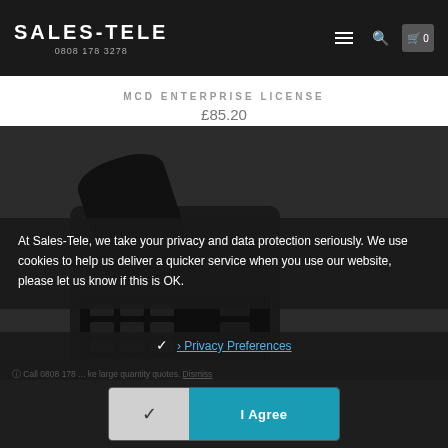SALES-TELE 0808 178 3278
MCD ENTERPRISE LICENSE
£85.20
[Figure (photo): Dark-colored office telephone handset and phone body on a dark background]
At Sales-Tele, we take your privacy and data protection seriously. We use cookies to help us deliver a quicker service when you use our website, please let us know if this is OK.
› Privacy Preferences
ⓘ Call 0808 178 ... ke large quantity quotes. Dismiss
✓  I Agree